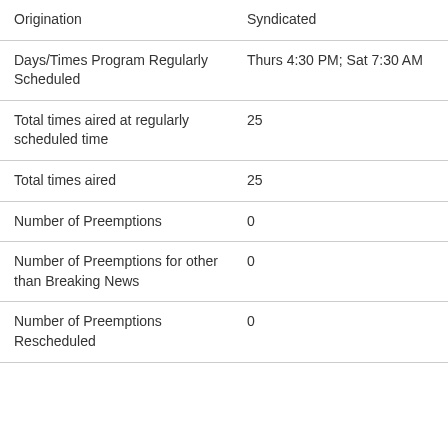| Origination | Syndicated |
| Days/Times Program Regularly Scheduled | Thurs 4:30 PM; Sat 7:30 AM |
| Total times aired at regularly scheduled time | 25 |
| Total times aired | 25 |
| Number of Preemptions | 0 |
| Number of Preemptions for other than Breaking News | 0 |
| Number of Preemptions Rescheduled | 0 |